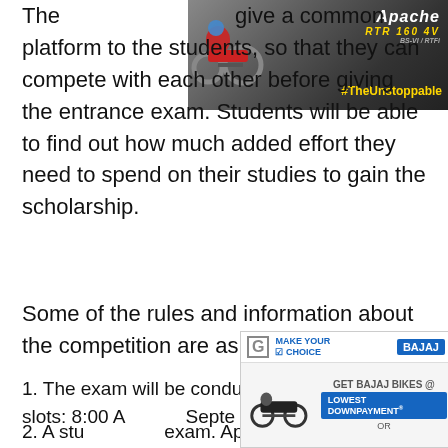[Figure (photo): Advertisement banner for TVS Apache RTR 160 motorcycle with #TheUnstoppable hashtag, dark background with bike image]
The ... give a common platform to the students, so that they can compete with each other before giving the entrance exam. Students will be able to find out how much added effort they need to spend on their studies to gain the scholarship.
Some of the rules and information about the competition are as follows:
1. The exam will be conducted in three time slots: 8:00 A... ...1:00 PM... ...4:00 PM... ...4 September...
2. A stu... ...exam. Appearing in two or more slots (even with
[Figure (photo): Advertisement for Bajaj bikes - GET BAJAJ BIKES @ LOWEST DOWNPAYMENT OR, with Make Your Choice logo and bike image]